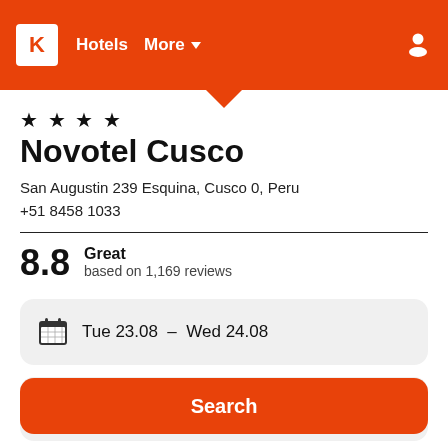K  Hotels  More
★ ★ ★ ★
Novotel Cusco
San Augustin 239 Esquina, Cusco 0, Peru
+51 8458 1033
8.8  Great  based on 1,169 reviews
Tue 23.08  -  Wed 24.08
1 room, 2 guests
Search